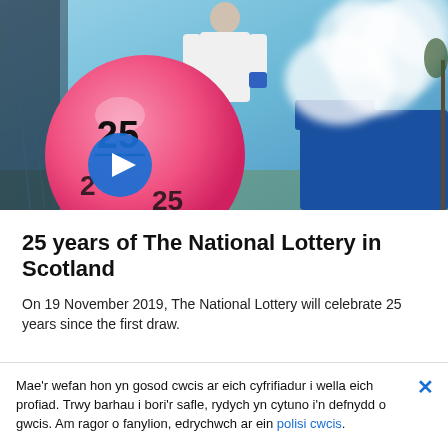[Figure (photo): A person in white uniform standing next to a large pink lottery ball numbered 25, with white steam/smoke billowing to the right, taken outdoors. A blue play button overlay is visible on the image.]
25 years of The National Lottery in Scotland
On 19 November 2019, The National Lottery will celebrate 25 years since the first draw.
Mae'r wefan hon yn gosod cwcis ar eich cyfrifiadur i wella eich profiad. Trwy barhau i bori'r safle, rydych yn cytuno i'n defnydd o gwcis. Am ragor o fanylion, edrychwch ar ein polisi cwcis.